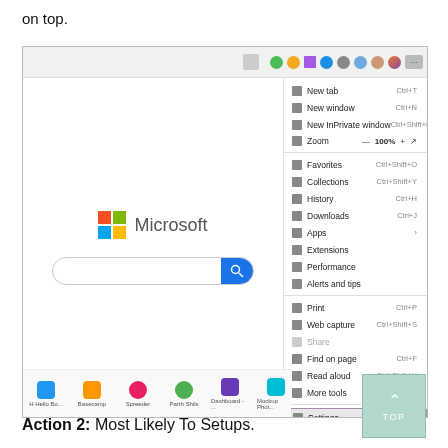on top.
[Figure (screenshot): Microsoft Edge browser screenshot showing the browser settings dropdown menu open, with 'Settings' highlighted, and the Microsoft homepage visible on the left side of the browser window.]
Action 2: Most Likely To Setups.